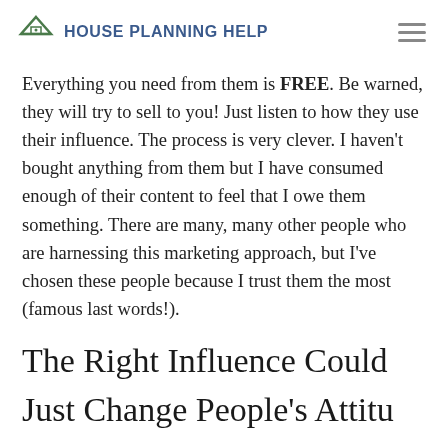House Planning Help
Everything you need from them is FREE. Be warned, they will try to sell to you! Just listen to how they use their influence. The process is very clever. I haven't bought anything from them but I have consumed enough of their content to feel that I owe them something. There are many, many other people who are harnessing this marketing approach, but I've chosen these people because I trust them the most (famous last words!).
The Right Influence Could Just Change People's Attitudes